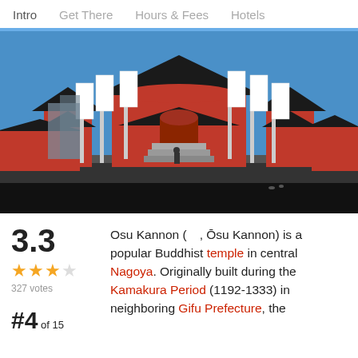Intro   Get There   Hours & Fees   Hotels
[Figure (photo): Osu Kannon Buddhist temple in Nagoya — a large red traditional Japanese temple with multiple pagodas, white banner flags, stone steps leading to the main hall, and a wide plaza in the foreground. Clear blue sky behind.]
3.3
327 votes
#4 of 15
Osu Kannon (　, Ōsu Kannon) is a popular Buddhist temple in central Nagoya. Originally built during the Kamakura Period (1192-1333) in neighboring Gifu Prefecture, the